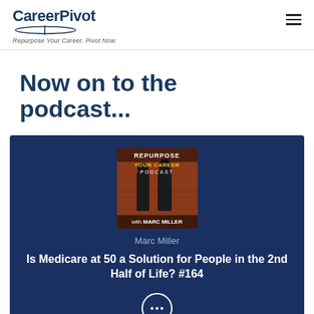CareerPivot — Repurpose Your Career. Pivot Now.
Now on to the podcast...
[Figure (screenshot): Podcast card with 'Repurpose Your Career Podcast with Marc Miller' cover art, author name Marc Miller, and episode title 'Is Medicare at 50 a Solution for People in the 2nd Half of Life? #164']